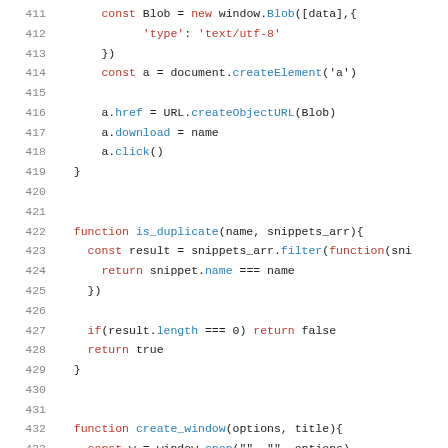Code snippet lines 411-433 showing JavaScript functions including Blob creation, anchor element download, is_duplicate function, and create_window function